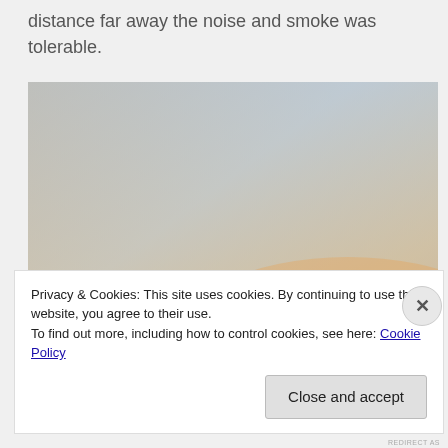distance far away the noise and smoke was tolerable.
[Figure (photo): Outdoor photo showing a pale blue and orange gradient sky at dusk with a silhouette of a tree line of acacia-type trees along the bottom.]
Privacy & Cookies: This site uses cookies. By continuing to use this website, you agree to their use.
To find out more, including how to control cookies, see here: Cookie Policy
Close and accept